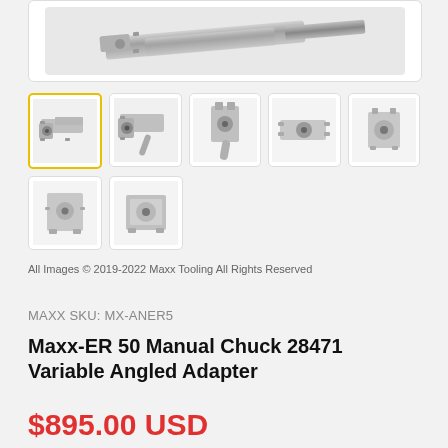[Figure (photo): Close-up photo of a metal ER50 manual chuck variable angled adapter tool, shown at an angle against white background]
[Figure (photo): Product thumbnail grid showing 7 views of the Maxx-ER 50 Manual Chuck Variable Angled Adapter from different angles]
All Images © 2019-2022 Maxx Tooling All Rights Reserved
MAXX SKU: MX-ANER5
Maxx-ER 50 Manual Chuck 28471 Variable Angled Adapter
$895.00 USD